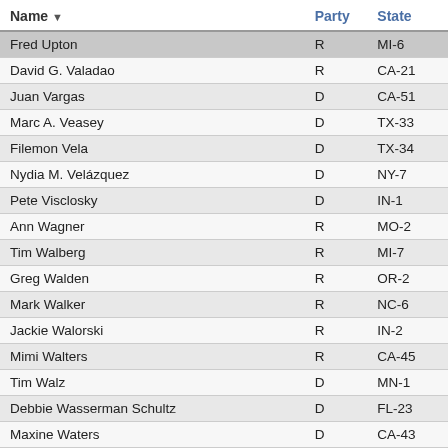| Name | Party | State |
| --- | --- | --- |
| Fred Upton | R | MI-6 |
| David G. Valadao | R | CA-21 |
| Juan Vargas | D | CA-51 |
| Marc A. Veasey | D | TX-33 |
| Filemon Vela | D | TX-34 |
| Nydia M. Velázquez | D | NY-7 |
| Pete Visclosky | D | IN-1 |
| Ann Wagner | R | MO-2 |
| Tim Walberg | R | MI-7 |
| Greg Walden | R | OR-2 |
| Mark Walker | R | NC-6 |
| Jackie Walorski | R | IN-2 |
| Mimi Walters | R | CA-45 |
| Tim Walz | D | MN-1 |
| Debbie Wasserman Schultz | D | FL-23 |
| Maxine Waters | D | CA-43 |
| Bonnie Watson Coleman | D | NJ-12 |
| Randy K. Weber, Sr. | R | TX-14 |
| Daniel Webster | R | FL-11 |
| Peter Welch | D | VT |
| Brad R. Wenstrup | R | OH-2 |
| Bruce Westerman | R | AR-4 |
| Roger Williams | R | TX-25 |